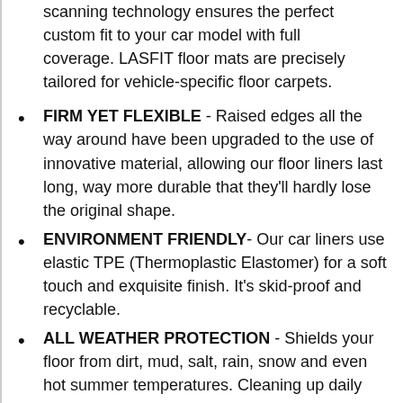scanning technology ensures the perfect custom fit to your car model with full coverage. LASFIT floor mats are precisely tailored for vehicle-specific floor carpets.
FIRM YET FLEXIBLE - Raised edges all the way around have been upgraded to the use of innovative material, allowing our floor liners last long, way more durable that they'll hardly lose the original shape.
ENVIRONMENT FRIENDLY- Our car liners use elastic TPE (Thermoplastic Elastomer) for a soft touch and exquisite finish. It's skid-proof and recyclable.
ALL WEATHER PROTECTION - Shields your floor from dirt, mud, salt, rain, snow and even hot summer temperatures. Cleaning up daily wear n' tear off our car mats is a breeze.
FULLY GUARANTEED - We provide 45-day hassle-free return. Feel free to contact us on